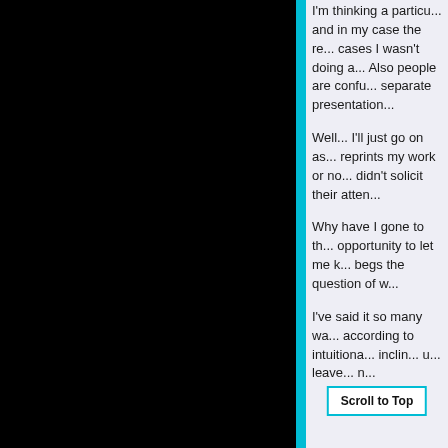I'm thinking a particu... and in my case the re... cases I wasn't doing a... Also people are confu... separate presentation...
Well... I'll just go on as... reprints my work or no... didn't solicit their atten...
Why have I gone to th... opportunity to let me k... begs the question of w...
I've said it so many wa... according to intuitiona... inclin... u... leave... n...